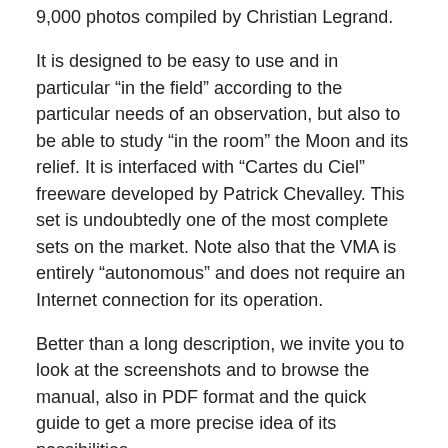9,000 photos compiled by Christian Legrand.
It is designed to be easy to use and in particular “in the field” according to the particular needs of an observation, but also to be able to study “in the room” the Moon and its relief. It is interfaced with “Cartes du Ciel” freeware developed by Patrick Chevalley. This set is undoubtedly one of the most complete sets on the market. Note also that the VMA is entirely “autonomous” and does not require an Internet connection for its operation.
Better than a long description, we invite you to look at the screenshots and to browse the manual, also in PDF format and the quick guide to get a more precise idea of its possibilities.
This program was designed according to the needs of the majority of Moon observers. But it is also thought to be a tool for people interested in selenography on a personal or professional basis.